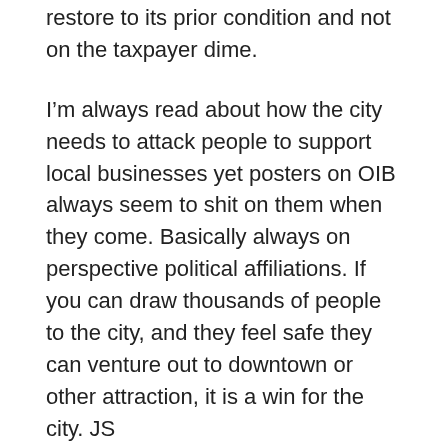restore to its prior condition and not on the taxpayer dime.
I’m always read about how the city needs to attack people to support local businesses yet posters on OIB always seem to shit on them when they come. Basically always on perspective political affiliations. If you can draw thousands of people to the city, and they feel safe they can venture out to downtown or other attraction, it is a win for the city. JS
BTY, Rich, please, are you say the police don’t always act honestly and appropriately when conducting their responsibilities as an officer of the law? Maybe BLM has some legitimacies? Not sure about those white Anitfia/Marxists, recruiting blacks and coming into their communities inciting riots and burning down it, though.